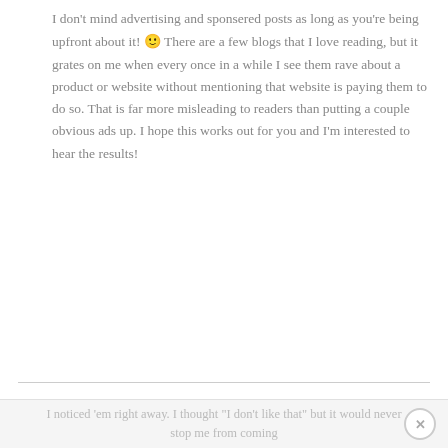I don't mind advertising and sponsered posts as long as you're being upfront about it! 🙂 There are a few blogs that I love reading, but it grates on me when every once in a while I see them rave about a product or website without mentioning that website is paying them to do so. That is far more misleading to readers than putting a couple obvious ads up. I hope this works out for you and I'm interested to hear the results!
REPLY
Jen says
January 27, 2010 at 12:03 pm
I noticed 'em right away. I thought "I don't like that" but it would never stop me from coming